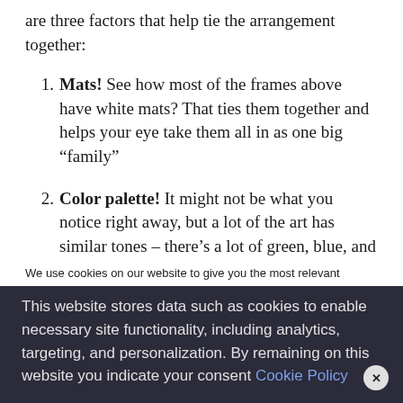are three factors that help tie the arrangement together:
Mats! See how most of the frames above have white mats? That ties them together and helps your eye take them all in as one big “family”
Color palette! It might not be what you notice right away, but a lot of the art has similar tones – there’s a lot of green, blue, and pink. And again lots of white in the art and the mats too. Even
We use cookies on our website to give you the most relevant experience by remembering your preferences and repeat visits. By clicking “Accept All”, you consent to the use of ALL t provide a controlled consent.
This website stores data such as cookies to enable necessary site functionality, including analytics, targeting, and personalization. By remaining on this website you indicate your consent Cookie Policy